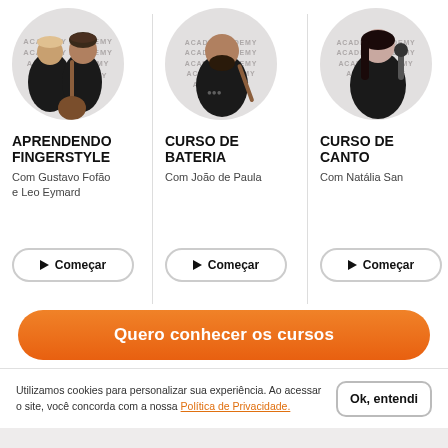[Figure (photo): Two men playing guitar, inside a circular crop with ACADEMY watermark repeated in the background]
[Figure (photo): Man with beard, possibly a drummer/musician, inside a circular crop with ACADEMY watermark repeated in the background]
[Figure (photo): Woman singing into microphone, inside a circular crop with ACADEMY watermark repeated in the background, partially cropped]
APRENDENDO FINGERSTYLE
Com Gustavo Fofão e Leo Eymard
CURSO DE BATERIA
Com João de Paula
CURSO DE CANTO
Com Natália San
▶  Começar
▶  Começar
▶  Começar
Quero conhecer os cursos
Utilizamos cookies para personalizar sua experiência. Ao acessar o site, você concorda com a nossa Política de Privacidade.
Ok, entendi